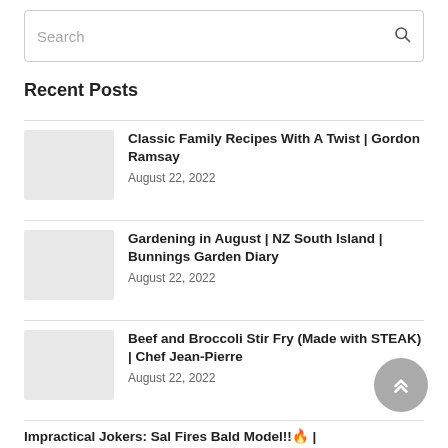Search
Recent Posts
Classic Family Recipes With A Twist | Gordon Ramsay
August 22, 2022
Gardening in August | NZ South Island | Bunnings Garden Diary
August 22, 2022
Beef and Broccoli Stir Fry (Made with STEAK) | Chef Jean-Pierre
August 22, 2022
Impractical Jokers: Sal Fires Bald Model!!🔥 |